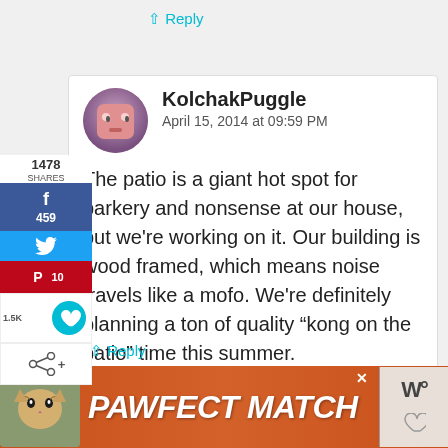↑ Reply
1478
SHARES
f 459
Twitter
Pinterest 10
Heart 1.5K
Share
KolchakPuggle
April 15, 2014 at 09:59 PM
The patio is a giant hot spot for barkery and nonsense at our house, but we're working on it. Our building is wood framed, which means noise travels like a mofo. We're definitely planning a ton of quality “kong on the patio” time this summer.
Reply
[Figure (infographic): PAWFECT MATCH advertisement banner with cat photo, orange/red background, and white bold italic text]